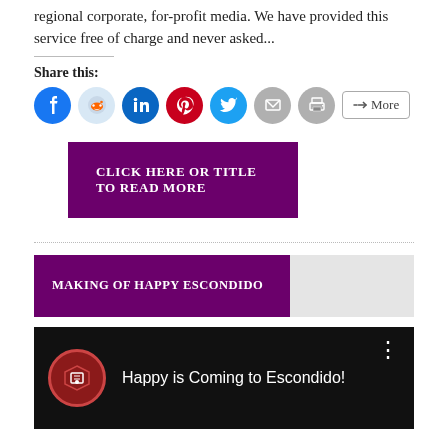regional corporate, for-profit media. We have provided this service free of charge and never asked...
Share this:
[Figure (infographic): Social sharing icons: Facebook (blue circle), Reddit (light blue circle), LinkedIn (dark blue circle), Pinterest (red circle), Twitter (cyan circle), Email (gray circle), Print (gray circle), More button]
[Figure (infographic): Purple button with white uppercase text: CLICK HERE OR TITLE TO READ MORE]
[Figure (infographic): Section header bar split: purple left half with white uppercase text MAKING OF HAPPY ESCONDIDO, gray right half]
[Figure (screenshot): YouTube video thumbnail on black background showing a red circular logo with shield and book, text: Happy is Coming to Escondido!, with a vertical three-dot menu icon]